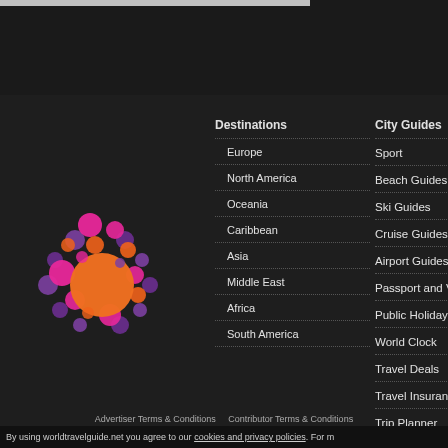[Figure (logo): World travel guide logo: colorful circle made of pink, orange, and purple bubbles]
Destinations
Europe
North America
Oceania
Caribbean
Asia
Middle East
Africa
South America
City Guides
Sport
Beach Guides
Ski Guides
Cruise Guides
Airport Guides
Passport and Visa
Public Holidays
World Clock
Travel Deals
Travel Insurance
Trip Planner
Advertiser Terms & Conditions   Contributor Terms & Conditions
By using worldtravelguide.net you agree to our cookies and privacy policies. For m